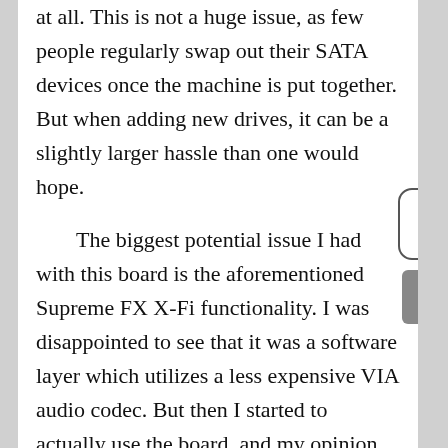at all.  This is not a huge issue, as few people regularly swap out their SATA devices once the machine is put together.  But when adding new drives, it can be a slightly larger hassle than one would hope.
The biggest potential issue I had with this board is the aforementioned Supreme FX X-Fi functionality.  I was disappointed to see that it was a software layer which utilizes a less expensive VIA audio codec.  But then I started to actually use the board, and my opinion changed to a degree.  I had few problems, if any, with the audio implementation.  I saw no real slowdowns in games which utilize EAX or other 3D audio processes, and I did not have any audio quality